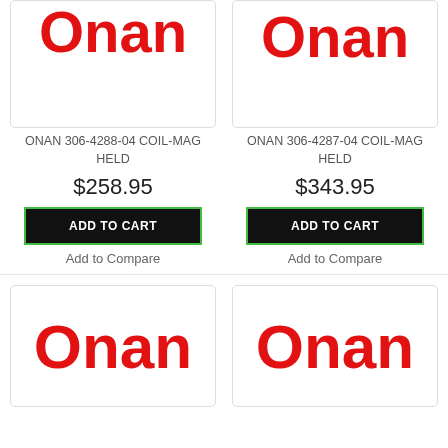[Figure (logo): Onan red logo on white background, top-left product card]
ONAN 306-4288-04 COIL-MAG HELD
$258.95
ADD TO CART
Add to Compare
[Figure (logo): Onan red logo on white background, top-right product card]
ONAN 306-4287-04 COIL-MAG HELD
$343.95
ADD TO CART
Add to Compare
[Figure (logo): Onan red logo on white background, bottom-left product card]
[Figure (logo): Onan red logo on white background, bottom-right product card]